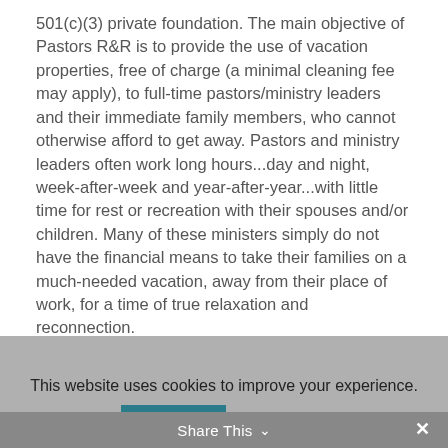501(c)(3) private foundation. The main objective of Pastors R&R is to provide the use of vacation properties, free of charge (a minimal cleaning fee may apply), to full-time pastors/ministry leaders and their immediate family members, who cannot otherwise afford to get away. Pastors and ministry leaders often work long hours...day and night, week-after-week and year-after-year...with little time for rest or recreation with their spouses and/or children. Many of these ministers simply do not have the financial means to take their families on a much-needed vacation, away from their place of work, for a time of true relaxation and reconnection.
This website uses cookies to improve your experience.
Accept
Read More
Share This